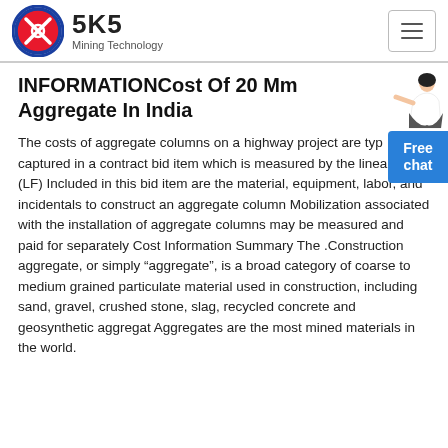SKS Mining Technology
INFORMATIONCost Of 20 Mm Aggregate In India
The costs of aggregate columns on a highway project are typ captured in a contract bid item which is measured by the lineal foot (LF) Included in this bid item are the material, equipment, labor, and incidentals to construct an aggregate column Mobilization associated with the installation of aggregate columns may be measured and paid for separately Cost Information Summary The .Construction aggregate, or simply "aggregate", is a broad category of coarse to medium grained particulate material used in construction, including sand, gravel, crushed stone, slag, recycled concrete and geosynthetic aggregat Aggregates are the most mined materials in the world.